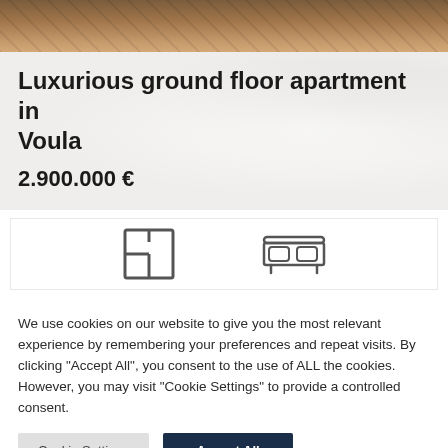[Figure (photo): Wooden floor texture hero image at top of page]
Luxurious ground floor apartment in Voula
2.900.000 €
[Figure (infographic): Two icons: a floor plan / area icon and a bed/bedroom icon]
We use cookies on our website to give you the most relevant experience by remembering your preferences and repeat visits. By clicking "Accept All", you consent to the use of ALL the cookies. However, you may visit "Cookie Settings" to provide a controlled consent.
Cookie Settings | Accept All